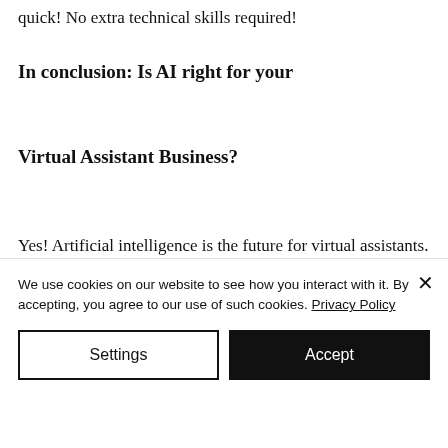quick! No extra technical skills required!
In conclusion: Is AI right for your Virtual Assistant Business?
Yes! Artificial intelligence is the future for virtual assistants. It's a no-brainer that this amazing technology will help your company save time, increase conversions, and ultimately make you
We use cookies on our website to see how you interact with it. By accepting, you agree to our use of such cookies. Privacy Policy
Settings
Accept